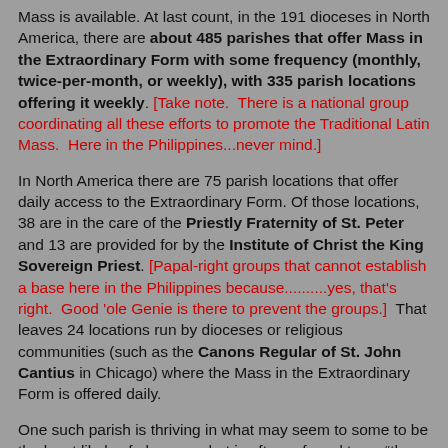Mass is available. At last count, in the 191 dioceses in North America, there are about 485 parishes that offer Mass in the Extraordinary Form with some frequency (monthly, twice-per-month, or weekly), with 335 parish locations offering it weekly. [Take note. There is a national group coordinating all these efforts to promote the Traditional Latin Mass. Here in the Philippines...never mind.]
In North America there are 75 parish locations that offer daily access to the Extraordinary Form. Of those locations, 38 are in the care of the Priestly Fraternity of St. Peter and 13 are provided for by the Institute of Christ the King Sovereign Priest. [Papal-right groups that cannot establish a base here in the Philippines because..........yes, that's right. Good 'ole Genie is there to prevent the groups.] That leaves 24 locations run by dioceses or religious communities (such as the Canons Regular of St. John Cantius in Chicago) where the Mass in the Extraordinary Form is offered daily.
One such parish is thriving in what may seem to some to be the least likely of places—what is often referred to as "the buckle of the Bible Belt," Greenville, South Carolina. Prince